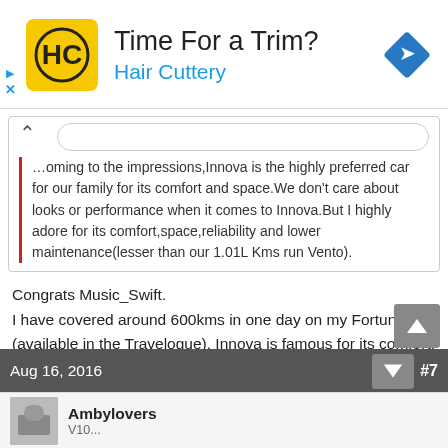[Figure (screenshot): Hair Cuttery advertisement banner with logo, 'Time For a Trim?' heading, and navigation arrow icon]
Coming to the impressions,Innova is the highly preferred car for our family for its comfort and space.We don't care about looks or performance when it comes to Innova.But I highly adore for its comfort,space,reliability and lower maintenance(lesser than our 1.01L Kms run Vento).
Congrats Music_Swift.
I have covered around 600kms in one day on my Fortuner (available in the Travelogue). Innova is famous for its comfort. All the ministers of Kerala State Government prefer Toyota Innova. Covering south-north of Kerala need a reliable and comfortable vehicle.

Post photos of the interior. Why you put seat cover?
Aug 16, 2016  #7
Ambylovers